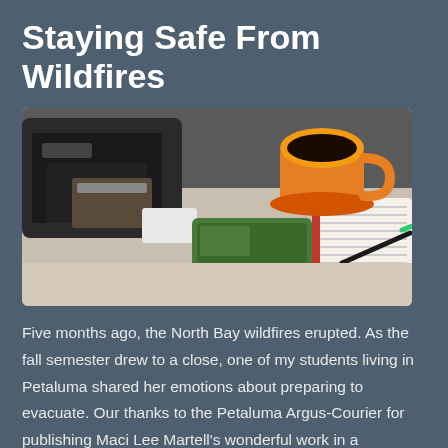Staying Safe From Wildfires
[Figure (photo): Desk scene with a bag, smartphone, notebook, pen, and an orange coffee cup on a saucer]
Five months ago, the North Bay wildfires erupted. As the fall semester drew to a close, one of my students living in Petaluma shared her emotions about preparing to evacuate. Our thanks to the Petaluma Argus-Courier for publishing Maci Lee Martell's wonderful work in a